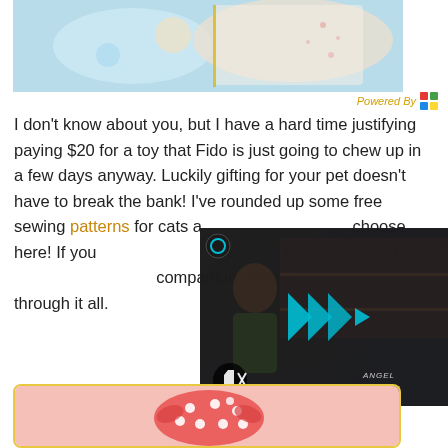[Figure (photo): Top portion of a craft/sewing photo showing colorful fabric items with cat patterns on a light blue background]
Powered By
I don't know about you, but I have a hard time justifying paying $20 for a toy that Fido is just going to chew up in a few days anyway. Luckily gifting for your pet doesn't have to break the bank! I've rounded up some free sewing patterns for cats and dogs for you to choose here! If you want to make something before the holiday, or just to treat your companions who have been with you through it all.
[Figure (screenshot): Video overlay showing a crafting/sewing channel with a woman in a craft room, play button icon, mute button, and Angel PixelPin.com branding]
[Figure (photo): Bottom portion showing a red polka-dot fabric cat/dog toy on a pink background inside a yellow-bordered frame]